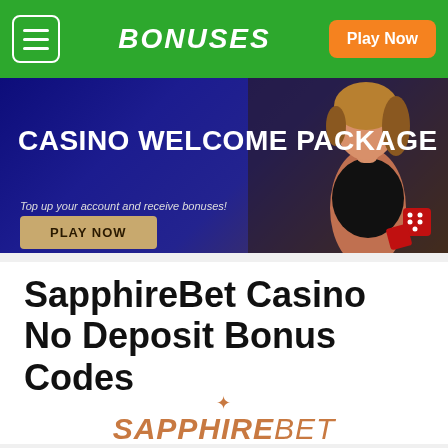BONUSES | Play Now
[Figure (illustration): Casino Welcome Package banner with animated woman dealer figure, dark blue background, text 'CASINO WELCOME PACKAGE', subtitle 'Top up your account and receive bonuses!', and a 'PLAY NOW' button.]
SapphireBet Casino No Deposit Bonus Codes
[Figure (logo): SapphireBet logo in italic copper/orange font with sparkle symbol above]